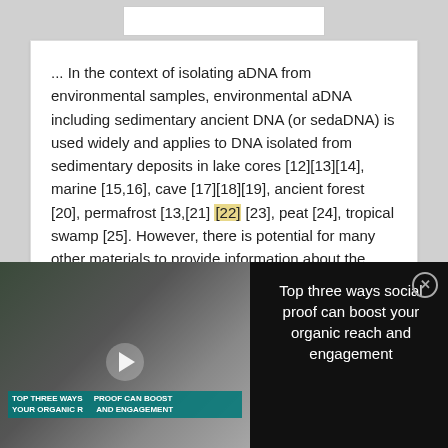... In the context of isolating aDNA from environmental samples, environmental aDNA including sedimentary ancient DNA (or sedaDNA) is used widely and applies to DNA isolated from sedimentary deposits in lake cores [12][13][14], marine [15,16], cave [17][18][19], ancient forest [20], permafrost [13,[21] [22] [23], peat [24], tropical swamp [25]. However, there is potential for many other materials to provide information about the past via aDNA analysis as basal ice [20], glacial soil [26], silt-soaked [27]
[Figure (screenshot): Video overlay showing lab scientists with text 'Top three ways social proof can boost your organic reach and engagement']
[Figure (other): Thermo Fisher Scientific advertisement showing a laser capture microdissection instrument with text 'Laser Capture Microdissection']